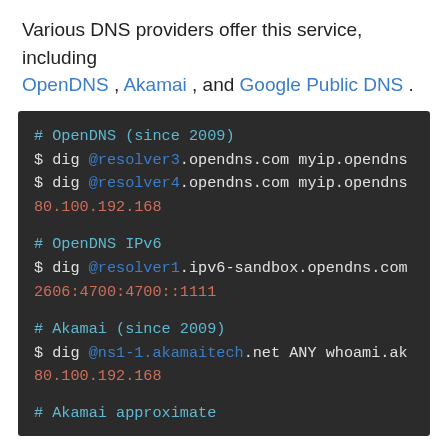Various DNS providers offer this service, including OpenDNS , Akamai , and Google Public DNS .
[Figure (screenshot): Dark-themed code block showing DNS lookup commands for OpenDNS (since 2009), OpenDNS IPv6, Akamai (since 2009), and Akamai approximate sections, with commands using dig and colored syntax highlighting.]